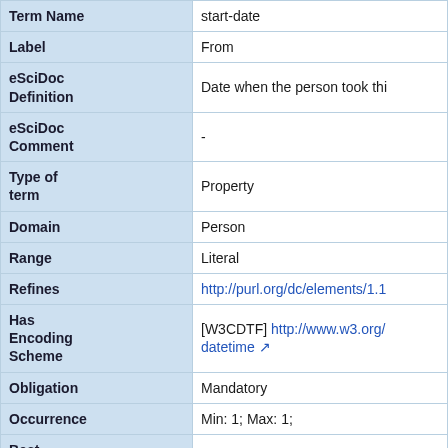| Field | Value |
| --- | --- |
| Term Name | start-date |
| Label | From |
| eSciDoc Definition | Date when the person took thi… |
| eSciDoc Comment | - |
| Type of term | Property |
| Domain | Person |
| Range | Literal |
| Refines | http://purl.org/dc/elements/1.1… |
| Has Encoding Scheme | [W3CDTF] http://www.w3.org/… datetime |
| Obligation | Mandatory |
| Occurrence | Min: 1; Max: 1; |
| Best practice | - |